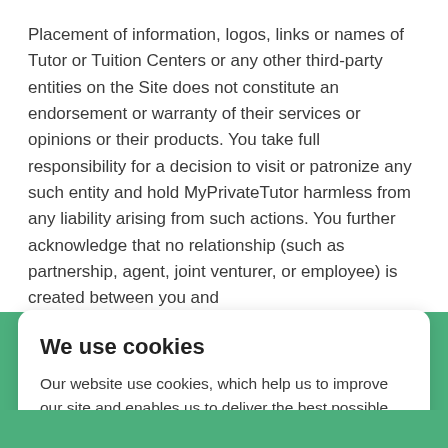Placement of information, logos, links or names of Tutor or Tuition Centers or any other third-party entities on the Site does not constitute an endorsement or warranty of their services or opinions or their products. You take full responsibility for a decision to visit or patronize any such entity and hold MyPrivateTutor harmless from any liability arising from such actions. You further acknowledge that no relationship (such as partnership, agent, joint venturer, or employee) is created between you and
We use cookies
Our website use cookies, which help us to improve our site and enables us to deliver the best possible service and customer experience. By clicking accept you are agreeing to our cookies policy. Find out more